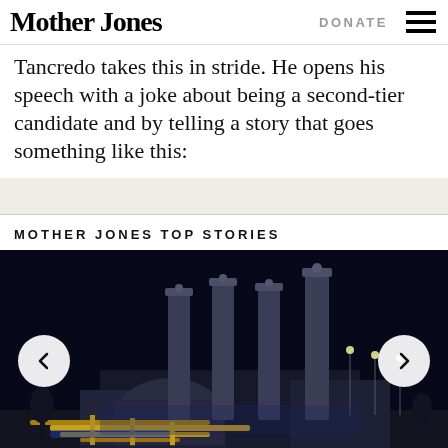Mother Jones | DONATE
Tancredo takes this in stride. He opens his speech with a joke about being a second-tier candidate and by telling a story that goes something like this:
MOTHER JONES TOP STORIES
[Figure (photo): Night-time photo of an industrial power plant with four tall smokestacks illuminated against a dark sky, with industrial equipment and piping in the foreground. Left and right carousel navigation arrows visible.]